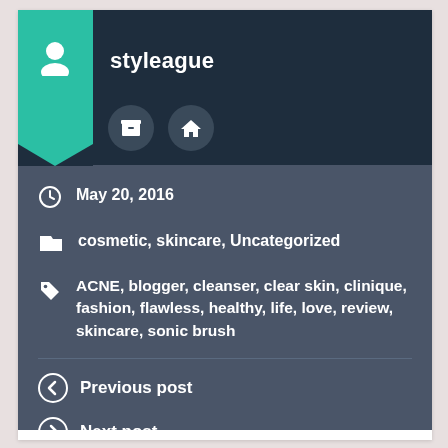styleague
May 20, 2016
cosmetic, skincare, Uncategorized
ACNE, blogger, cleanser, clear skin, clinique, fashion, flawless, healthy, life, love, review, skincare, sonic brush
Previous post
Next post